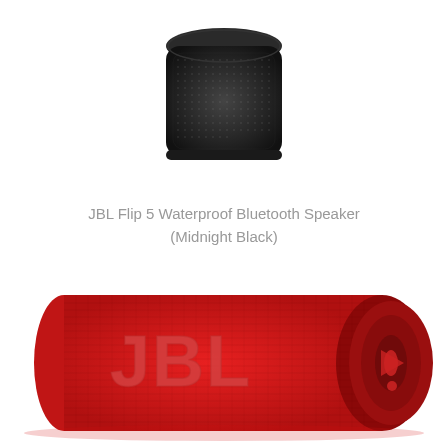[Figure (photo): JBL Flip 5 Waterproof Bluetooth Speaker in Midnight Black color, compact square-ish shape with fabric mesh grille, viewed from front-top angle]
JBL Flip 5 Waterproof Bluetooth Speaker
(Midnight Black)
[Figure (photo): JBL Flip 6 Waterproof Bluetooth Speaker in red color, cylindrical shape with fabric mesh grille, JBL logo on front, speaker cone visible on right side]